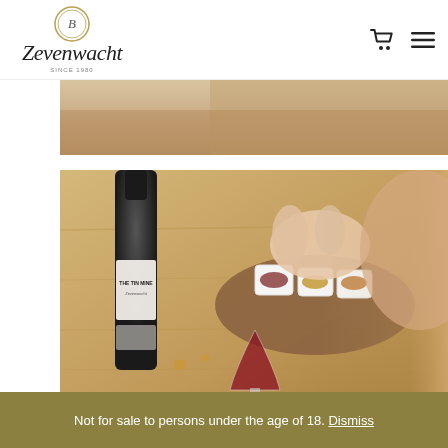Zevenwacht
[Figure (photo): Partial top photo of wine/restaurant scene, cropped at top]
[Figure (photo): Photo of a wine bottle labeled 'The Tin Mine' by Zevenwacht on a wooden table with a cheese/snack board, a glass of red wine, and a person's hands reaching for food]
Not for sale to persons under the age of 18. Dismiss